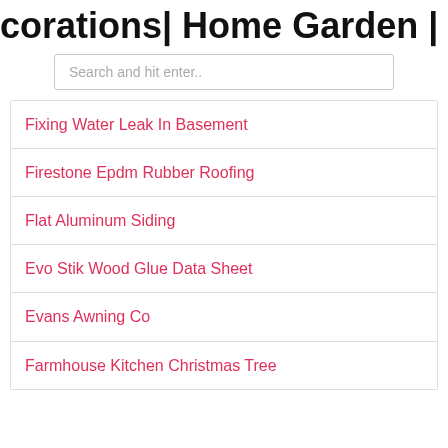corations| Home Garden | Home Far
Search and hit enter..
Fixing Water Leak In Basement
Firestone Epdm Rubber Roofing
Flat Aluminum Siding
Evo Stik Wood Glue Data Sheet
Evans Awning Co
Farmhouse Kitchen Christmas Tree